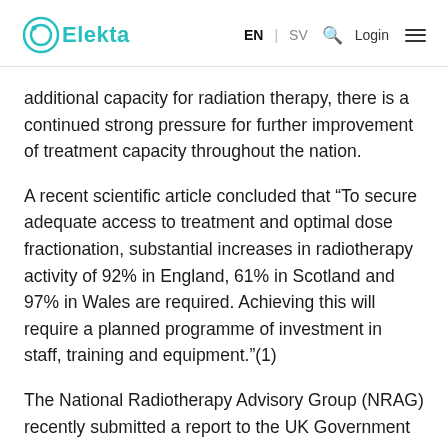Elekta | EN | SV | Login
additional capacity for radiation therapy, there is a continued strong pressure for further improvement of treatment capacity throughout the nation.
A recent scientific article concluded that “To secure adequate access to treatment and optimal dose fractionation, substantial increases in radiotherapy activity of 92% in England, 61% in Scotland and 97% in Wales are required. Achieving this will require a planned programme of investment in staff, training and equipment.”(1)
The National Radiotherapy Advisory Group (NRAG) recently submitted a report to the UK Government